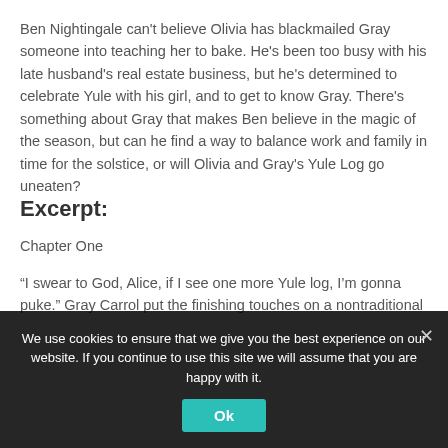Ben Nightingale can't believe Olivia has blackmailed Gray someone into teaching her to bake. He's been too busy with his late husband's real estate business, but he's determined to celebrate Yule with his girl, and to get to know Gray. There's something about Gray that makes Ben believe in the magic of the season, but can he find a way to balance work and family in time for the solstice, or will Olivia and Gray's Yule Log go uneaten?
Excerpt:
Chapter One
“I swear to God, Alice, if I see one more Yule log, I’m gonna puke.” Gray Carrol put the finishing touches on a nontraditional
We use cookies to ensure that we give you the best experience on our website. If you continue to use this site we will assume that you are happy with it.